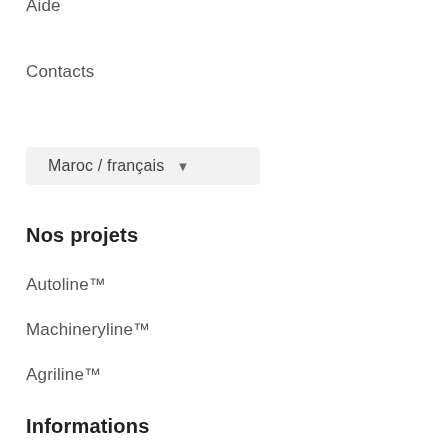Aide
Contacts
Maroc / français
Nos projets
Autoline™
Machineryline™
Agriline™
Informations
Conditions générales d'utilisation
Politique de confidentialité
Conseils de sécurité
Commentaires sur Autoline